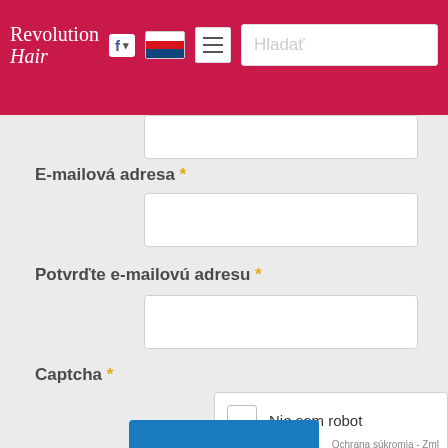[Figure (screenshot): Website navigation header with logo 'Revolution Hair', Facebook button, Czech flag, hamburger menu, and search box with placeholder 'Hladať']
E-mailová adresa *
Potvrďte e-mailovú adresu *
Captcha *
Nie som robot
Ochrana súkromia - Zml